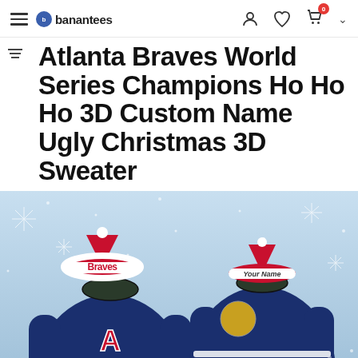banantees — navigation header with hamburger menu, logo, user icon, wishlist icon, cart icon (badge: 0), and chevron
Atlanta Braves World Series Champions Ho Ho Ho 3D Custom Name Ugly Christmas 3D Sweater
[Figure (photo): Two Atlanta Braves ugly Christmas 3D sweaters displayed against a snowy blue background with snowflakes. Left sweater shows the front with Braves logo and Santa hat. Right sweater shows the back with 'Your Name' on the Santa hat brim and the large Braves 'A' logo. Text 'HO HO HO' partially visible at bottom.]